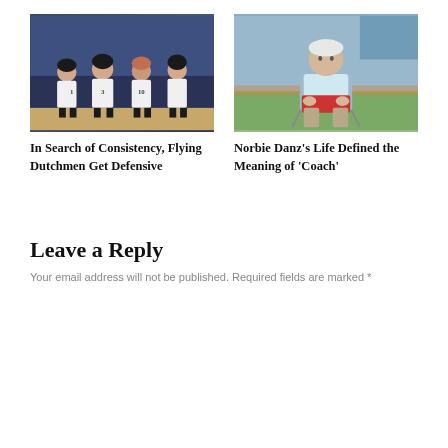[Figure (photo): Four female basketball players in white uniforms standing on a court with blue background]
[Figure (photo): An elderly man in a light blue shirt and khaki pants sitting in a folding chair outdoors]
In Search of Consistency, Flying Dutchmen Get Defensive
Norbie Danz’s Life Defined the Meaning of ‘Coach’
Leave a Reply
Your email address will not be published. Required fields are marked *